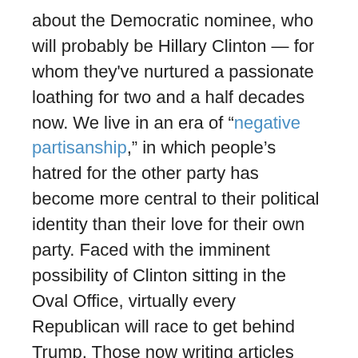about the Democratic nominee, who will probably be Hillary Clinton — for whom they've nurtured a passionate loathing for two and a half decades now. We live in an era of "negative partisanship," in which people's hatred for the other party has become more central to their political identity than their love for their own party. Faced with the imminent possibility of Clinton sitting in the Oval Office, virtually every Republican will race to get behind Trump. Those now writing articles about what a nightmare a Trump nomination would be will be writing articles touting his virtues.
They won't be dissembling — rather, they'll just be trying to make the best of a bad situation. Once the point of reference is not a more preferable Republican but Hillary Clinton, Trump will look to them like a hero in the making. So as fun as a three-way presidential race in the fall might